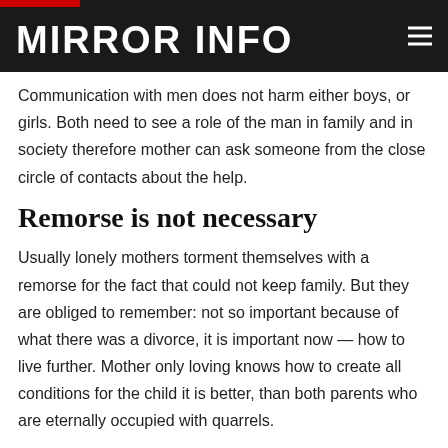MIRROR INFO
Communication with men does not harm either boys, or girls. Both need to see a role of the man in family and in society therefore mother can ask someone from the close circle of contacts about the help.
Remorse is not necessary
Usually lonely mothers torment themselves with a remorse for the fact that could not keep family. But they are obliged to remember: not so important because of what there was a divorce, it is important now — how to live further. Mother only loving knows how to create all conditions for the child it is better, than both parents who are eternally occupied with quarrels.
Not to feel sorry for time for the